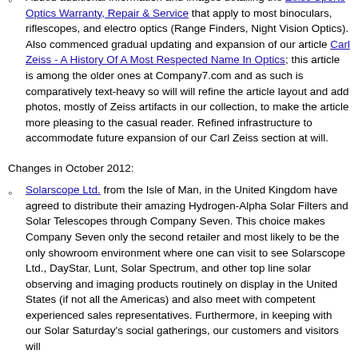included images of their first advertisement scanned from our archives.
Added additional information and images detailing the Zeiss Sports Optics Warranty, Repair & Service that apply to most binoculars, riflescopes, and electro optics (Range Finders, Night Vision Optics). Also commenced gradual updating and expansion of our article Carl Zeiss - A History Of A Most Respected Name In Optics; this article is among the older ones at Company7.com and as such is comparatively text-heavy so will will refine the article layout and add photos, mostly of Zeiss artifacts in our collection, to make the article more pleasing to the casual reader. Refined infrastructure to accommodate future expansion of our Carl Zeiss section at will.
Changes in October 2012:
Solarscope Ltd. from the Isle of Man, in the United Kingdom have agreed to distribute their amazing Hydrogen-Alpha Solar Filters and Solar Telescopes through Company Seven. This choice makes Company Seven only the second retailer and most likely to be the only showroom environment where one can visit to see Solarscope Ltd., DayStar, Lunt, Solar Spectrum, and other top line solar observing and imaging products routinely on display in the United States (if not all the Americas) and also meet with competent experienced sales representatives. Furthermore, in keeping with our Solar Saturday's social gatherings, our customers and visitors will